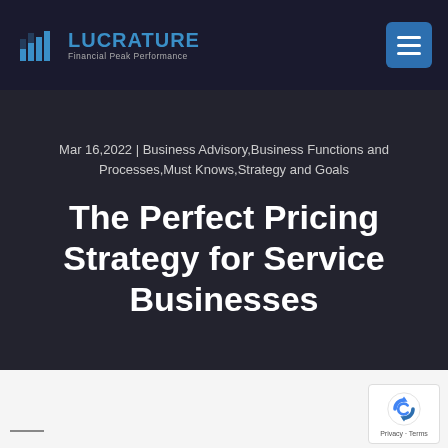LUCRATURE Financial Peak Performance
Mar 16,2022 | Business Advisory,Business Functions and Processes,Must Knows,Strategy and Goals
The Perfect Pricing Strategy for Service Businesses